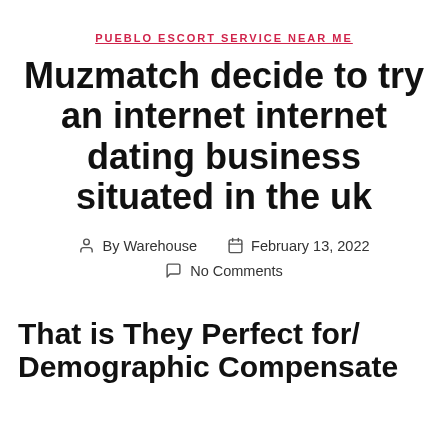PUEBLO ESCORT SERVICE NEAR ME
Muzmatch decide to try an internet internet dating business situated in the uk
By Warehouse   February 13, 2022   No Comments
That is They Perfect for/ Demographic Compensate